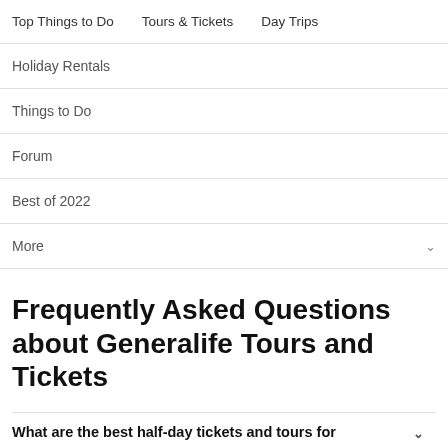Top Things to Do   Tours & Tickets   Day Trips
Holiday Rentals
Things to Do
Forum
Best of 2022
More
Frequently Asked Questions about Generalife Tours and Tickets
What are the best half-day tickets and tours for